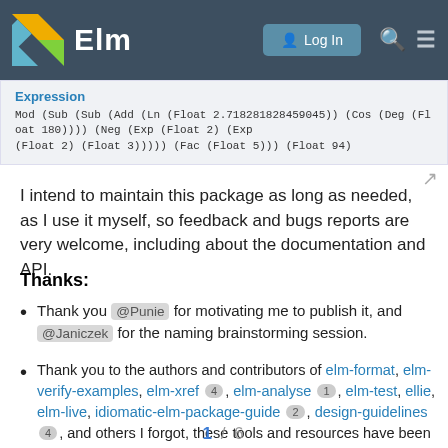Elm — Log In
[Figure (screenshot): Code block showing Expression label and Mod (Sub (Sub (Add (Ln (Float 2.718281828459045)) (Cos (Deg (Float 180)))) (Neg (Exp (Float 2) (Exp (Float 2) (Float 3))))) (Fac (Float 5))) (Float 94)]
I intend to maintain this package as long as needed, as I use it myself, so feedback and bugs reports are very welcome, including about the documentation and API.
Thanks:
Thank you @Punie for motivating me to publish it, and @Janiczek for the naming brainstorming session.
Thank you to the authors and contributors of elm-format, elm-verify-examples, elm-xref 4 , elm-analyse 1 , elm-test, ellie, elm-live, idiomatic-elm-package-guide 2 , design-guidelines 4 , and others I forgot, these tools and resources have been tremendously useful. Also Travis CI configuration is now a breeze 9 , this
1 / 6